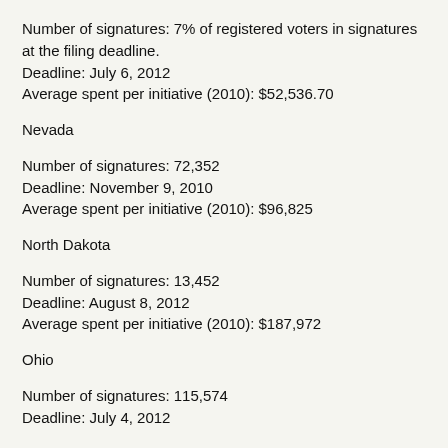Number of signatures: 7% of registered voters in signatures at the filing deadline.
Deadline: July 6, 2012
Average spent per initiative (2010): $52,536.70
Nevada
Number of signatures: 72,352
Deadline: November 9, 2010
Average spent per initiative (2010): $96,825
North Dakota
Number of signatures: 13,452
Deadline: August 8, 2012
Average spent per initiative (2010): $187,972
Ohio
Number of signatures: 115,574
Deadline: July 4, 2012